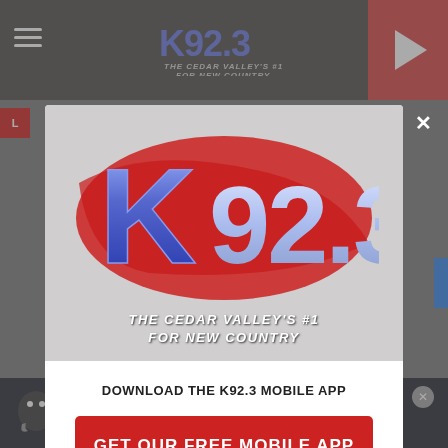[Figure (screenshot): K92.3 radio station website screenshot in background with dark header, hamburger menu, logo, and play button]
[Figure (screenshot): Modal popup dialog showing K92.3 logo with text 'THE CEDAR VALLEY'S #1 FOR NEW COUNTRY', download prompt, red GET OUR FREE MOBILE APP button, and Amazon Alexa listening option]
DOWNLOAD THE K92.3 MOBILE APP
GET OUR FREE MOBILE APP
Also listen on: amazon alexa
[Figure (screenshot): BitLife advertisement banner at bottom with 'NOW WITH GOD MODE' text]